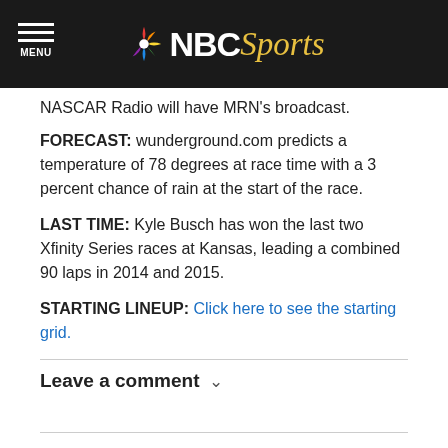NBC Sports
NASCAR Radio will have MRN's broadcast.
FORECAST: wunderground.com predicts a temperature of 78 degrees at race time with a 3 percent chance of rain at the start of the race.
LAST TIME: Kyle Busch has won the last two Xfinity Series races at Kansas, leading a combined 90 laps in 2014 and 2015.
STARTING LINEUP: Click here to see the starting grid.
Leave a comment